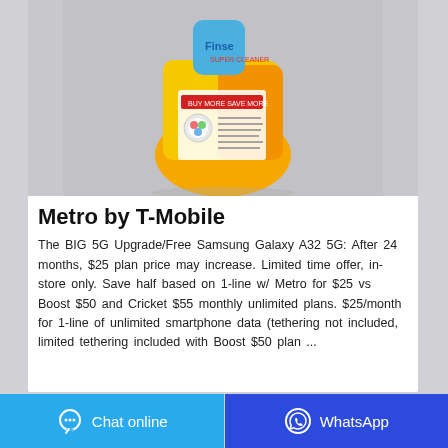[Figure (photo): Product photo: a yellow/orange plastic bottle or bag of cleaning product (Finesee/similar brand) photographed against a grey background, showing the back label with red and white text]
Metro by T-Mobile
The BIG 5G Upgrade/Free Samsung Galaxy A32 5G: After 24 months, $25 plan price may increase. Limited time offer, in-store only. Save half based on 1-line w/ Metro for $25 vs Boost $50 and Cricket $55 monthly unlimited plans. $25/month for 1-line of unlimited smartphone data (tethering not included, limited tethering included with Boost $50 plan ...
Chat online
WhatsApp